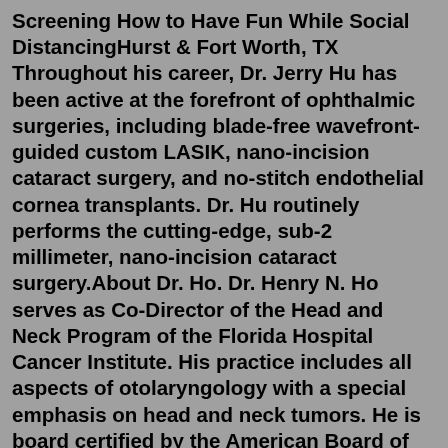Screening How to Have Fun While Social DistancingHurst & Fort Worth, TX Throughout his career, Dr. Jerry Hu has been active at the forefront of ophthalmic surgeries, including blade-free wavefront-guided custom LASIK, nano-incision cataract surgery, and no-stitch endothelial cornea transplants. Dr. Hu routinely performs the cutting-edge, sub-2 millimeter, nano-incision cataract surgery.About Dr. Ho. Dr. Henry N. Ho serves as Co-Director of the Head and Neck Program of the Florida Hospital Cancer Institute. His practice includes all aspects of otolaryngology with a special emphasis on head and neck tumors. He is board certified by the American Board of Otolaryngology - Head and Neck Surgery and is a fellow of the American ...We Take Great Care Of Your Eyes! At Infinity Vision, we know how vitally important proper eye care is, and we strive to provide our patients with the highest quality eye care available in Humble, Texas. We provide eye exams for glasses, contact lenses, and more. The practice features a joint Dr.